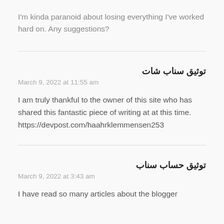I'm kinda paranoid about losing everything I've worked hard on. Any suggestions?
توثيق سناب شات
March 9, 2022 at 11:55 am
I am truly thankful to the owner of this site who has shared this fantastic piece of writing at at this time. https://devpost.com/haahrklemmensen253
توثيق حساب سناب
March 9, 2022 at 3:43 am
I have read so many articles about the blogger